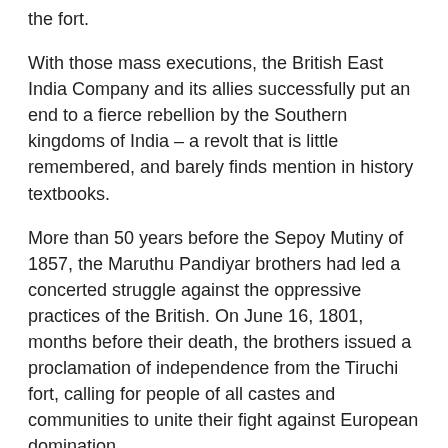the fort.
With those mass executions, the British East India Company and its allies successfully put an end to a fierce rebellion by the Southern kingdoms of India – a revolt that is little remembered, and barely finds mention in history textbooks.
More than 50 years before the Sepoy Mutiny of 1857, the Maruthu Pandiyar brothers had led a concerted struggle against the oppressive practices of the British. On June 16, 1801, months before their death, the brothers issued a proclamation of independence from the Tiruchi fort, calling for people of all castes and communities to unite their fight against European domination.
“An all-Indian concept inspired the proclamation, for it not only made a direct appeal to the entire country but expressed an anxiety that if the political malady persisted, India would fall under alien rule,” wrote K Rajayyan, author of the book South Indian Rebellion: The First War of Independence 1800-1801.